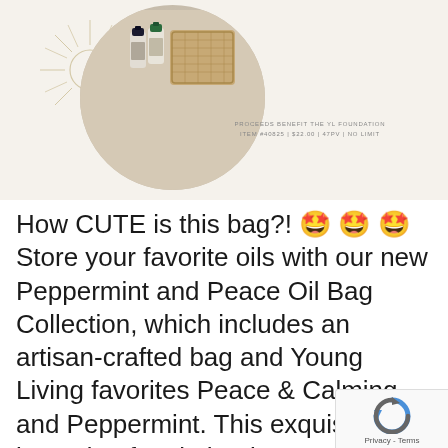[Figure (photo): Circular photo of essential oil bottles and a woven/cork bag on a linen fabric, set on a cream/beige background with a decorative sun illustration on the left side. Text overlay reads: PROCEEDS BENEFIT THE YL FOUNDATION / ITEM #40825 / $22.00 / 47PV / NO LIMIT]
How CUTE is this bag?! 🤩🤩🤩 Store your favorite oils with our new Peppermint and Peace Oil Bag Collection, which includes an artisan-crafted bag and Young Living favorites Peace & Calming and Peppermint. This exquisite bag is made of cork that is 100 percent natural, stain resistant,